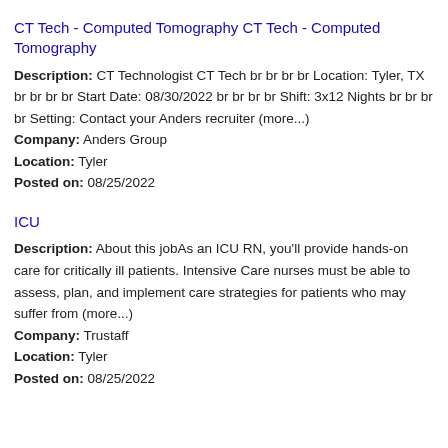CT Tech - Computed Tomography CT Tech - Computed Tomography
Description: CT Technologist CT Tech br br br br Location: Tyler, TX br br br br Start Date: 08/30/2022 br br br br Shift: 3x12 Nights br br br br Setting: Contact your Anders recruiter (more...)
Company: Anders Group
Location: Tyler
Posted on: 08/25/2022
ICU
Description: About this jobAs an ICU RN, you'll provide hands-on care for critically ill patients. Intensive Care nurses must be able to assess, plan, and implement care strategies for patients who may suffer from (more...)
Company: Trustaff
Location: Tyler
Posted on: 08/25/2022